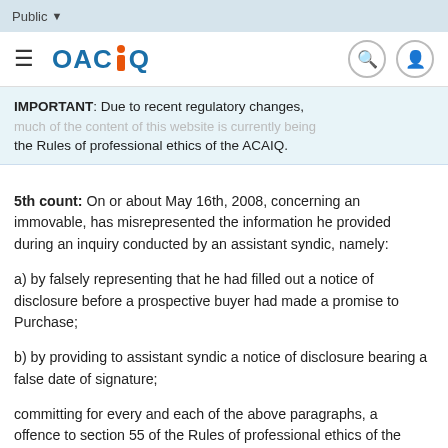Public
[Figure (logo): OACIQ logo with navigation hamburger menu, search icon, and user icon]
IMPORTANT: Due to recent regulatory changes, much of the content of this website is currently being the Rules of professional ethics of the ACAIQ.
5th count: On or about May 16th, 2008, concerning an immovable, has misrepresented the information he provided during an inquiry conducted by an assistant syndic, namely:
a) by falsely representing that he had filled out a notice of disclosure before a prospective buyer had made a promise to Purchase;
b) by providing to assistant syndic a notice of disclosure bearing a false date of signature;
committing for every and each of the above paragraphs, an offence to section 55 of the Rules of professional ethics of the ACAIQ.
6th a) count: Concerning an immovable, has signed on behalf of a vendor without having previously obtained a written